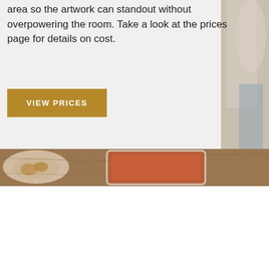area so the artwork can standout without overpowering the room. Take a look at the prices page for details on cost.
VIEW PRICES
[Figure (photo): Blurred decorative photo on the right side showing a person or fabric in neutral tones]
[Figure (photo): Wide banner photo showing a table with a plate of food, a tablet device, and wooden surface in warm tones]
We use cookies on our website to give you the most relevant experience by remembering your preferences and repeat visits. By clicking "Accept All", you consent to the use of ALL the cookies.
Cookie Settings
Accept All